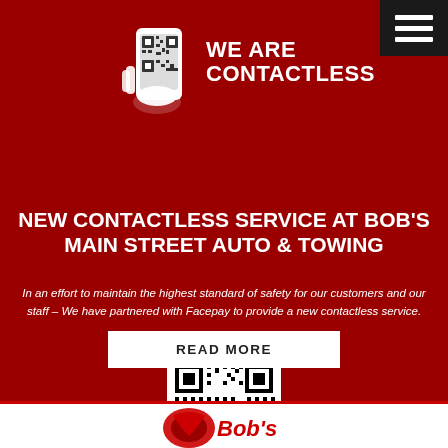[Figure (logo): Hand holding phone with QR code icon, next to text WE ARE CONTACTLESS in white on dark red background]
NEW CONTACTLESS SERVICE AT BOB'S MAIN STREET AUTO & TOWING
In an effort to maintain the highest standard of safety for our customers and our staff – We have partnered with Facepay to provide a new contactless service.
[Figure (other): QR code image in white bordered box]
READ MORE
[Figure (logo): Partial red logo at bottom of page (Bob's logo)]